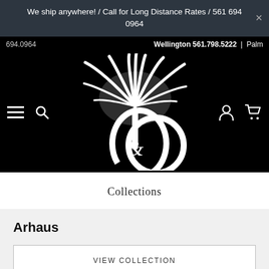We ship anywhere! / Call for Long Distance Rates / 561 694 0964
694.0964   Wellington 561.798.5222 | Palm
[Figure (logo): C&O logo with palm tree illustration on black background, with hamburger menu, search, account, and cart icons]
Collections
Arhaus
VIEW COLLECTION